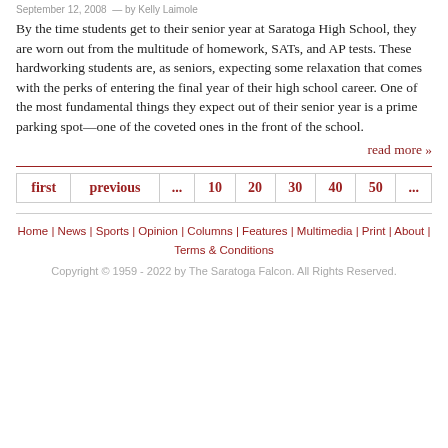September 12, 2008 — by Kelly Laimole
By the time students get to their senior year at Saratoga High School, they are worn out from the multitude of homework, SATs, and AP tests. These hardworking students are, as seniors, expecting some relaxation that comes with the perks of entering the final year of their high school career. One of the most fundamental things they expect out of their senior year is a prime parking spot—one of the coveted ones in the front of the school.
read more »
| first | previous | ... | 10 | 20 | 30 | 40 | 50 | ... |
| --- | --- | --- | --- | --- | --- | --- | --- | --- |
Home | News | Sports | Opinion | Columns | Features | Multimedia | Print | About | Terms & Conditions
Copyright © 1959 - 2022 by The Saratoga Falcon. All Rights Reserved.